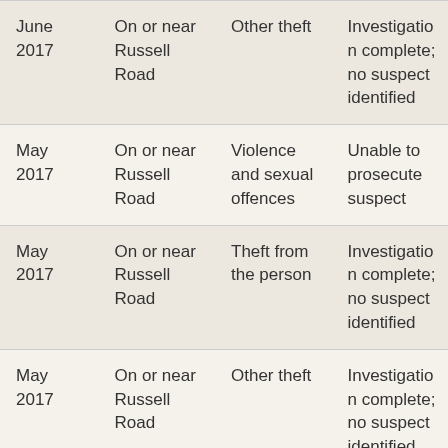| June 2017 | On or near Russell Road | Other theft | Investigation complete; no suspect identified |
| May 2017 | On or near Russell Road | Violence and sexual offences | Unable to prosecute suspect |
| May 2017 | On or near Russell Road | Theft from the person | Investigation complete; no suspect identified |
| May 2017 | On or near Russell Road | Other theft | Investigation complete; no suspect identified |